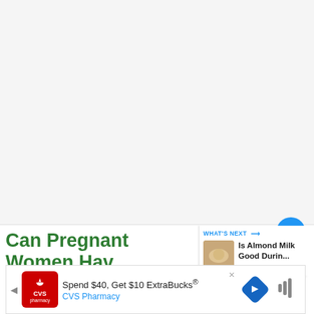[Figure (photo): Hero image placeholder area for article about dragon fruit juice and pregnancy]
Can Pregnant Women Have Dragon Fruit Juice?
[Figure (screenshot): What's Next panel showing 'Is Almond Milk Good Durin...' with thumbnail of almond milk]
[Figure (screenshot): CVS Pharmacy advertisement: Spend $40, Get $10 ExtraBucks®]
Pr...